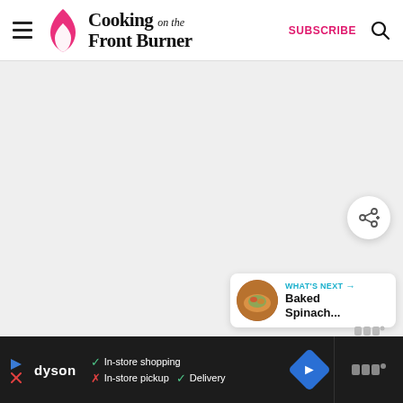Cooking on the Front Burner — SUBSCRIBE
[Figure (screenshot): Large blank/light gray area — main content loading area of the Cooking on the Front Burner website]
[Figure (infographic): Share button (circular white button with share icon) and What's Next card showing Baked Spinach... with a food thumbnail]
[Figure (infographic): Ad bar at the bottom: Dyson ad with In-store shopping (check), In-store pickup (X), Delivery (check), navigation blue diamond icon, and Mediavine logo on right]